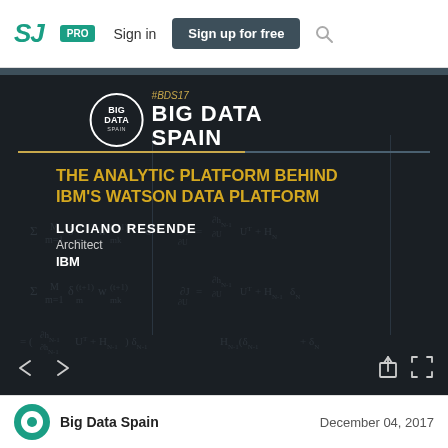SJ | PRO | Sign in | Sign up for free
[Figure (screenshot): Slide from Big Data Spain conference (#BDS17) with dark background, mathematical formula watermarks. Shows title 'THE ANALYTIC PLATFORM BEHIND IBM'S WATSON DATA PLATFORM' by LUCIANO RESENDE, Architect at IBM. Navigation arrows and share/fullscreen icons visible.]
Big Data Spain
December 04, 2017